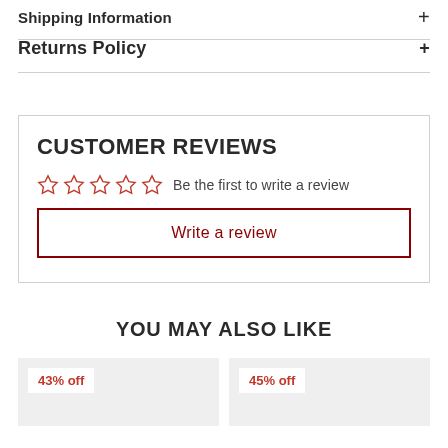Shipping Information
Returns Policy
CUSTOMER REVIEWS
Be the first to write a review
Write a review
YOU MAY ALSO LIKE
43% off
45% off